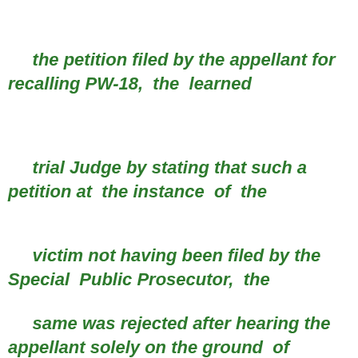the petition filed by the appellant for recalling PW-18, the learned
trial Judge by stating that such a petition at the instance of the
victim not having been filed by the Special Public Prosecutor, the
same was rejected after hearing the appellant solely on the ground of